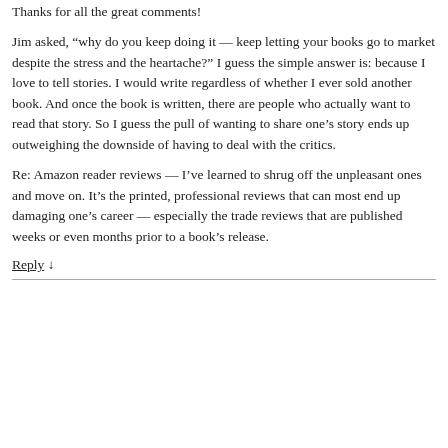Thanks for all the great comments!
Jim asked, “why do you keep doing it — keep letting your books go to market despite the stress and the heartache?” I guess the simple answer is: because I love to tell stories. I would write regardless of whether I ever sold another book. And once the book is written, there are people who actually want to read that story. So I guess the pull of wanting to share one’s story ends up outweighing the downside of having to deal with the critics.
Re: Amazon reader reviews — I’ve learned to shrug off the unpleasant ones and move on. It’s the printed, professional reviews that can most end up damaging one’s career — especially the trade reviews that are published weeks or even months prior to a book’s release.
Reply ↓